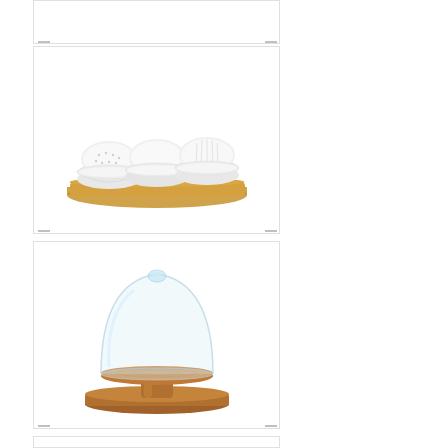[Figure (photo): Partial view of a product card at the top of the page, cut off]
[Figure (photo): Three white ceramic bowls with textured patterns arranged on a rectangular acacia wood tray]
[Figure (photo): Glass dome cloche cover on a round acacia wood pedestal cake stand]
[Figure (photo): Partial view of a fourth product card at the bottom, cut off]